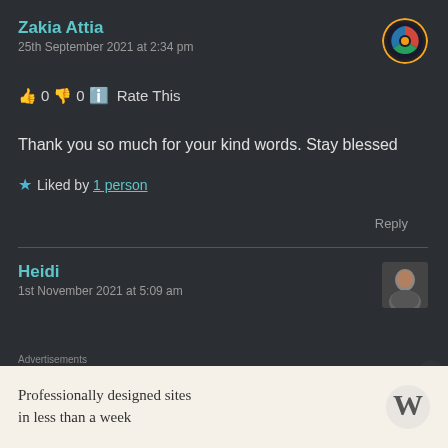Zakia Attia
25th September 2021 at 2:34 pm
👍 0 👎 0 ℹ Rate This
Thank you so much for your kind words. Stay blessed
★ Liked by 1 person
Reply
Heidi
1st November 2021 at 5:09 am
Professionally designed sites in less than a week